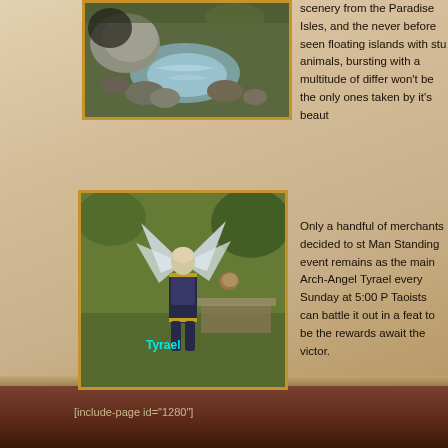[Figure (photo): Screenshot of rocks and waterfall/water scene from a game environment, Paradise Isles area]
scenery from the Paradise Isles, and the never before seen floating islands with stu animals, bursting with a multitude of differ won't be the only ones taken by it's beaut
[Figure (screenshot): Game screenshot of Arch-Angel Tyrael character standing on grass with wings spread, labeled 'Tyrael']
Only a handful of merchants decided to st Man Standing event remains as the main Arch-Angel Tyrael every Sunday at 5:00 P Taoists can battle it out in a feat to be the rewards await the victor.
[include-page id="1280"]